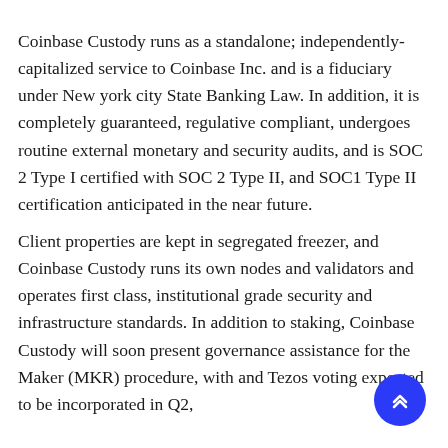Coinbase Custody runs as a standalone; independently-capitalized service to Coinbase Inc. and is a fiduciary under New york city State Banking Law. In addition, it is completely guaranteed, regulative compliant, undergoes routine external monetary and security audits, and is SOC 2 Type I certified with SOC 2 Type II, and SOC1 Type II certification anticipated in the near future.
Client properties are kept in segregated freezer, and Coinbase Custody runs its own nodes and validators and operates first class, institutional grade security and infrastructure standards. In addition to staking, Coinbase Custody will soon present governance assistance for the Maker (MKR) procedure, with and Tezos voting expected to be incorporated in Q2,